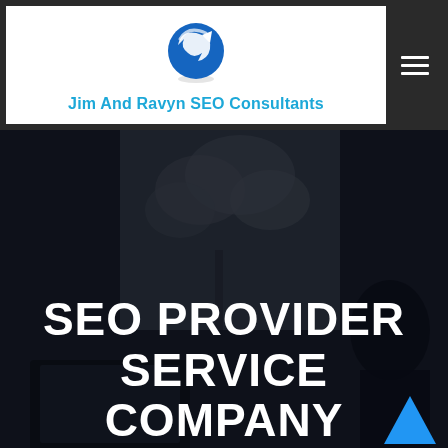[Figure (logo): Jim And Ravyn SEO Consultants logo with circular arrow icon in blue]
[Figure (photo): Dark overlay photo of office/meeting scene with blurred cherry blossom tree visible through window]
SEO PROVIDER SERVICE COMPANY